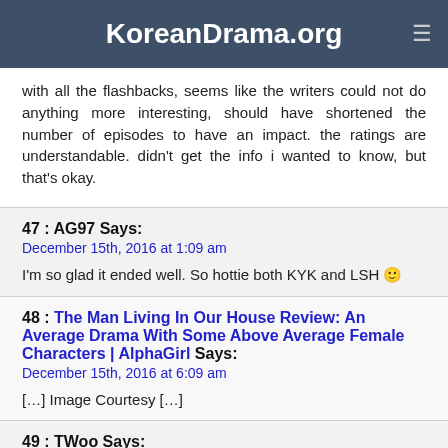KoreanDrama.org
with all the flashbacks, seems like the writers could not do anything more interesting, should have shortened the number of episodes to have an impact. the ratings are understandable. didn't get the info i wanted to know, but that's okay.
47 : AG97 Says:
December 15th, 2016 at 1:09 am

I'm so glad it ended well. So hottie both KYK and LSH 🙂
48 : The Man Living In Our House Review: An Average Drama With Some Above Average Female Characters | AlphaGirl Says:
December 15th, 2016 at 6:09 am

[…] Image Courtesy […]
49 : TWoo Says:
December 18th, 2016 at 9:40 pm